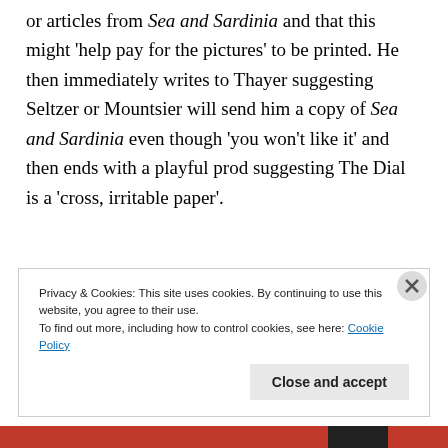or articles from Sea and Sardinia and that this might 'help pay for the pictures' to be printed. He then immediately writes to Thayer suggesting Seltzer or Mountsier will send him a copy of Sea and Sardinia even though 'you won't like it' and then ends with a playful prod suggesting The Dial is a 'cross, irritable paper'.
Privacy & Cookies: This site uses cookies. By continuing to use this website, you agree to their use.
To find out more, including how to control cookies, see here: Cookie Policy